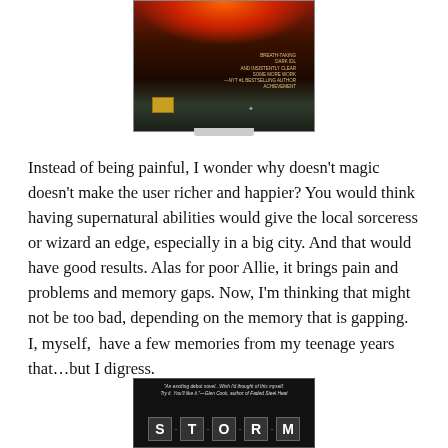[Figure (photo): Book cover image displayed on a monitor/screen, showing a dark fantasy book cover with fire/flames at top, dark background, small text blurb on right side, and a gold badge on bottom left.]
Instead of being painful, I wonder why doesn't magic doesn't make the user richer and happier? You would think having supernatural abilities would give the local sorceress or wizard an edge, especially in a big city. And that would have good results. Alas for poor Allie, it brings pain and problems and memory gaps. Now, I'm thinking that might not be too bad, depending on the memory that is gapping. I, myself,  have a few memories from my teenage years that…but I digress.
[Figure (photo): Book cover for 'Storm' — dark background with the title STORM displayed in large block letters, each letter in a separate box, with a quote at the top reading 'An exciting debut novel...Wish I'd thought of this myself. Try it. You'll like it.' —Glen Cook, author of Faded Steel Heat]